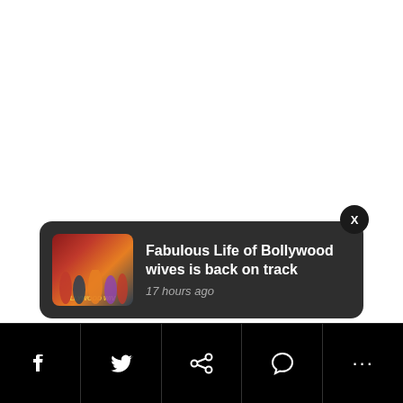[Figure (screenshot): White blank content area at top of mobile screen]
[Figure (screenshot): Notification card with dark background showing 'Fabulous Life of Bollywood wives is back on track' with thumbnail image and timestamp '17 hours ago', with X close button]
Fabulous Life of Bollywood wives is back on track
17 hours ago
[Figure (screenshot): Mobile bottom navigation bar with social sharing icons: Facebook, Twitter, link/share, comment/speech bubble, and more (three dots)]